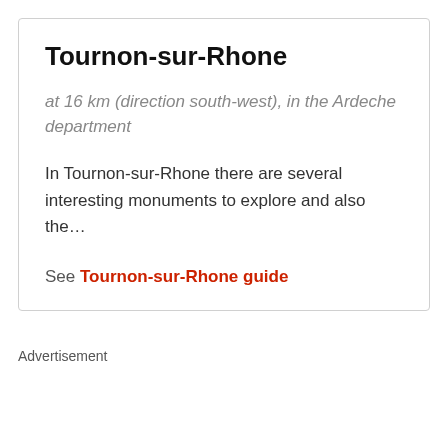Tournon-sur-Rhone
at 16 km (direction south-west), in the Ardeche department
In Tournon-sur-Rhone there are several interesting monuments to explore and also the…
See Tournon-sur-Rhone guide
Advertisement